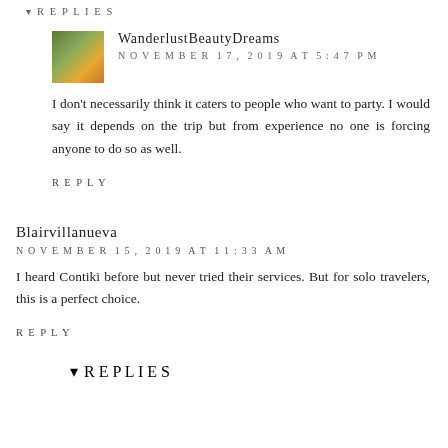▾ REPLIES
WanderlustBeautyDreams
NOVEMBER 17, 2019 AT 5:47 PM
I don't necessarily think it caters to people who want to party. I would say it depends on the trip but from experience no one is forcing anyone to do so as well.
REPLY
Blairvillanueva
NOVEMBER 15, 2019 AT 11:33 AM
I heard Contiki before but never tried their services. But for solo travelers, this is a perfect choice.
REPLY
▾ REPLIES